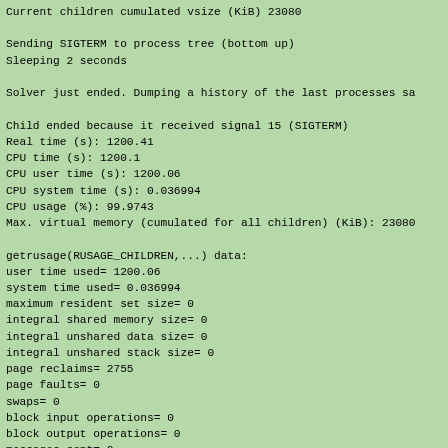Current children cumulated vsize (KiB) 23080

Sending SIGTERM to process tree (bottom up)
Sleeping 2 seconds

Solver just ended. Dumping a history of the last processes sa

Child ended because it received signal 15 (SIGTERM)
Real time (s): 1200.41
CPU time (s): 1200.1
CPU user time (s): 1200.06
CPU system time (s): 0.036994
CPU usage (%): 99.9743
Max. virtual memory (cumulated for all children) (KiB): 23080

getrusage(RUSAGE_CHILDREN,...) data:
user time used= 1200.06
system time used= 0.036994
maximum resident set size= 0
integral shared memory size= 0
integral unshared data size= 0
integral unshared stack size= 0
page reclaims= 2755
page faults= 0
swaps= 0
block input operations= 0
block output operations= 0
messages sent= 0
messages received= 0
signals received= 0
voluntary context switches= 2
involuntary context switches= 2618